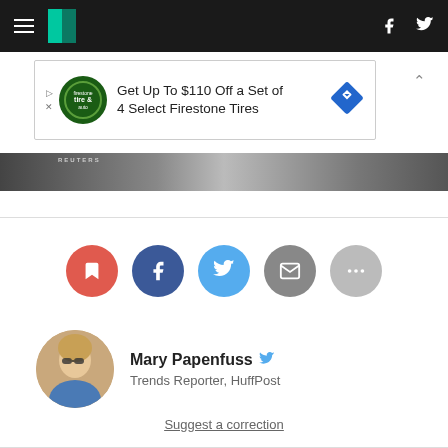HuffPost navigation bar with hamburger menu, logo, Facebook and Twitter icons
[Figure (screenshot): Advertisement banner: Get Up To $110 Off a Set of 4 Select Firestone Tires]
[Figure (photo): Photo strip with REUTERS watermark]
[Figure (infographic): Social sharing buttons: bookmark (red), Facebook (navy), Twitter (blue), email (gray), more (light gray)]
Mary Papenfuss  Trends Reporter, HuffPost
Suggest a correction